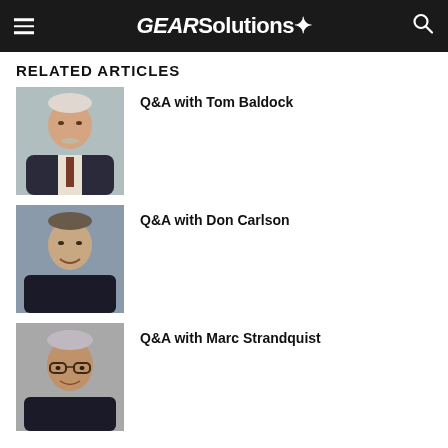GEARSolutions
RELATED ARTICLES
[Figure (photo): Headshot of Tom Baldock, older man with white hair and mustache, wearing a dark blazer and patterned tie]
Q&A with Tom Baldock
[Figure (photo): Headshot of Don Carlson, middle-aged man smiling, wearing a dark shirt]
Q&A with Don Carlson
[Figure (photo): Headshot of Marc Strandquist, older man with gray hair wearing glasses and dark shirt]
Q&A with Marc Strandquist